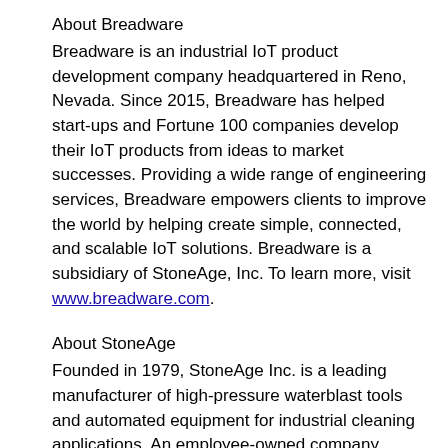About Breadware
Breadware is an industrial IoT product development company headquartered in Reno, Nevada. Since 2015, Breadware has helped start-ups and Fortune 100 companies develop their IoT products from ideas to market successes. Providing a wide range of engineering services, Breadware empowers clients to improve the world by helping create simple, connected, and scalable IoT solutions. Breadware is a subsidiary of StoneAge, Inc. To learn more, visit www.breadware.com.
About StoneAge
Founded in 1979, StoneAge Inc. is a leading manufacturer of high-pressure waterblast tools and automated equipment for industrial cleaning applications. An employee-owned company headquartered in Durango, Colorado, StoneAge provides solutions and training to customers across